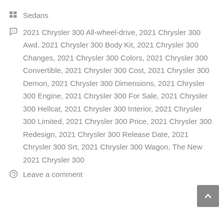Sedans
2021 Chrysler 300 All-wheel-drive, 2021 Chrysler 300 Awd, 2021 Chrysler 300 Body Kit, 2021 Chrysler 300 Changes, 2021 Chrysler 300 Colors, 2021 Chrysler 300 Convertible, 2021 Chrysler 300 Cost, 2021 Chrysler 300 Demon, 2021 Chrysler 300 Dimensions, 2021 Chrysler 300 Engine, 2021 Chrysler 300 For Sale, 2021 Chrysler 300 Hellcat, 2021 Chrysler 300 Interior, 2021 Chrysler 300 Limited, 2021 Chrysler 300 Price, 2021 Chrysler 300 Redesign, 2021 Chrysler 300 Release Date, 2021 Chrysler 300 Srt, 2021 Chrysler 300 Wagon, The New 2021 Chrysler 300
Leave a comment